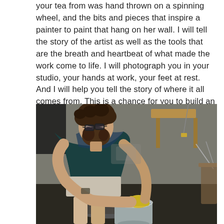your tea from was hand thrown on a spinning wheel, and the bits and pieces that inspire a painter to paint that hang on her wall. I will tell the story of the artist as well as the tools that are the breath and heartbeat of what made the work come to life. I will photograph you in your studio, your hands at work, your feet at rest. And I will help you tell the story of where it all comes from. This is a chance for you to build an incredible “about” page and give yourself a much more meaningful head shot.
[Figure (photo): A bearded man with curly hair and glasses, wearing a dark blue-green shirt and shorts, leans over a galvanized metal bucket in what appears to be a pottery studio or workshop. He is working with a yellow sponge, wiping or cleaning, with a pottery wheel visible. The background shows a cluttered workshop with wooden shelving.]